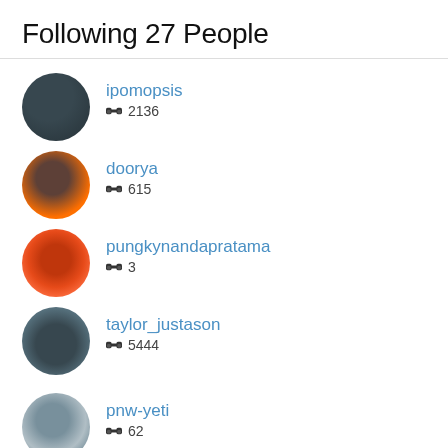Following 27 People
ipomopsis
2136
doorya
615
pungkynandapratama
3
taylor_justason
5444
pnw-yeti
62
swdesertnaturalist
54
semiferalhiker
356
hawksthree